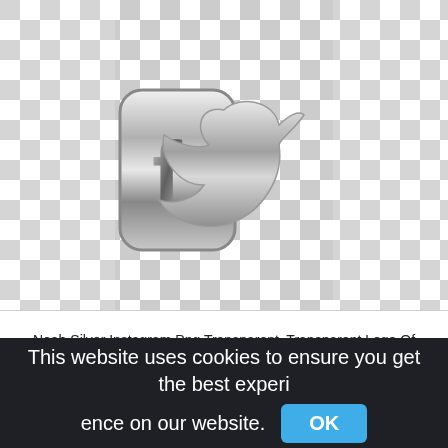[Figure (illustration): Three silver/chrome metallic social media icons on a transparent (checkerboard) background: Facebook 'f' icon on left, Twitter bird icon in center, Instagram camera icon on right.]
Noah Silver Instagram Png Transparent, Transparent Logo Of Facebook Twitter Instagram In White,instagram circle png
This website uses cookies to ensure you get the best experience on our website. OK